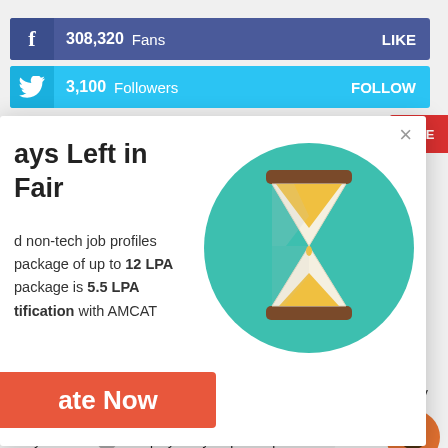308,320 Fans — LIKE (Facebook)
3,100 Followers — FOLLOW (Twitter)
RIBE (Subscribe button)
ays Left in Fair
d non-tech job profiles package of up to 12 LPA package is 5.5 LPA tification with AMCAT
ate Now
[Figure (illustration): Hourglass icon on teal circular background]
July 2022
Chat now
Why is the AMCAT Employability Report Important for Your Career